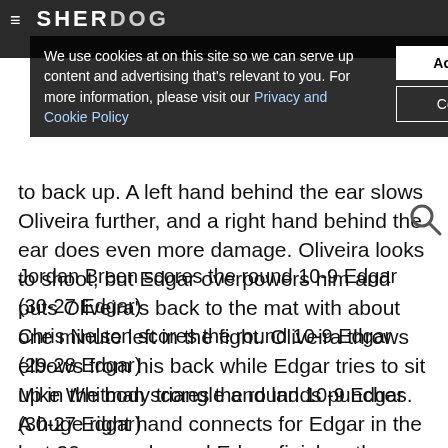SHERDOG
We use cookies at on this site so we can serve up content and advertising that's relevant to you. For more information, please visit our Privacy and Cookie Policy
Accept Cookies
Cookie Settings
to back up. A left hand behind the ear slows Oliveira further, and a right hand behind the ear does even more damage. Oliveira looks to shoot, but Edgar overpowers him and puts Oliveira's back to the mat with about one minute left in the fight. Oliveira throws elbows from his back while Edgar tries to sit up in the body triangle and lands punches. A huge right hand connects for Edgar in the last 20 seconds, and Edgar finishes the three-round thriller on top as the bout goes to the judges.
Jordan Breen scores the round 10-9 Edgar (30-27 Edgar)
Chris Nelson scores the round 10-9 Edgar (29-28 Edgar)
Mike Whitman scores the round 10-9 Edgar (30-27 Edgar)